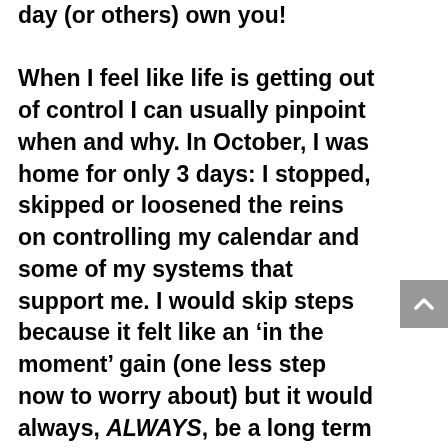day (or others) own you! When I feel like life is getting out of control I can usually pinpoint when and why. In October, I was home for only 3 days: I stopped, skipped or loosened the reins on controlling my calendar and some of my systems that support me. I would skip steps because it felt like an 'in the moment' gain (one less step now to worry about) but it would always, ALWAYS, be a long term loss. The Book Club for Professional Development read Atomic Habits by James Clear last quarter, and his line – You do not rise to the level of your goals. You fall to the level of your systems – perfectly sums up